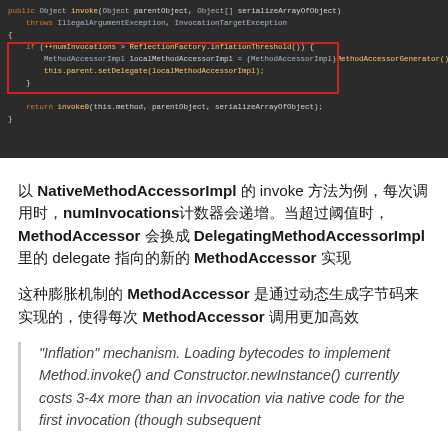[Figure (screenshot): Code screenshot showing a Java method with a red-bordered highlighted section. Dark background with syntax-highlighted code including NativeMethodAccessorImpl, MethodAccessorImpl, and related Java reflection code.]
以 NativeMethodAccessorImpl 的 invoke 方法为例，每次调用时，numInvocations计数器会递增。当超过阈值时，MethodAccessor 会换成 DelegatingMethodAccessorImpl 里的 delegate 指向的新的 MethodAccessor 实现
这种膨胀机制的 MethodAccessor 是通过动态生成字节码来实现的，使得每次 MethodAccessor 调用更加高效
"Inflation" mechanism. Loading bytecodes to implement Method.invoke() and Constructor.newInstance() currently costs 3-4x more than an invocation via native code for the first invocation (though subsequent